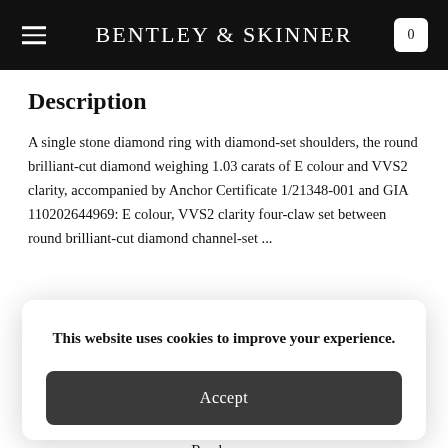BENTLEY & SKINNER
Description
A single stone diamond ring with diamond-set shoulders, the round brilliant-cut diamond weighing 1.03 carats of E colour and VVS2 clarity, accompanied by Anchor Certificate 1/21348-001 and GIA 110202644969: E colour, VVS2 clarity four-claw set between round brilliant-cut diamond channel-set ...
This website uses cookies to improve your experience.
Accept
Read more